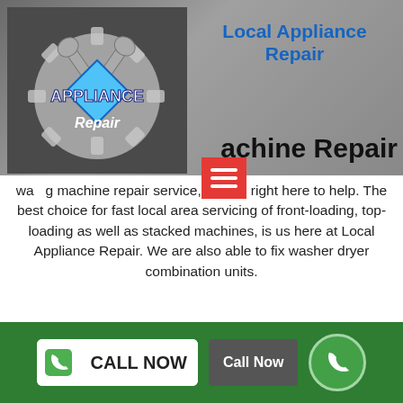[Figure (logo): Appliance Repair logo with wrenches and gear on dark background]
Local Appliance Repair
achine Repair
wa g machine repair service, we are right here to help. The best choice for fast local area servicing of front-loading, top-loading as well as stacked machines, is us here at Local Appliance Repair. We are also able to fix washer dryer combination units.
[Figure (photo): Kitchen countertop with gas stove and various items]
CALL NOW
Call Now